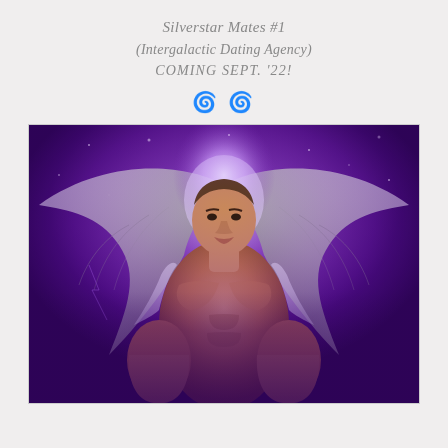Silverstar Mates #1
(Intergalactic Dating Agency)
COMING SEPT. '22!
[Figure (illustration): Fantasy romance book cover showing a muscular winged male figure (angel) with large feathered wings spread wide, against a purple glowing cosmic background with lightning and stars. The figure is shirtless and powerfully built, facing the viewer, with white-purple light emanating from behind him.]